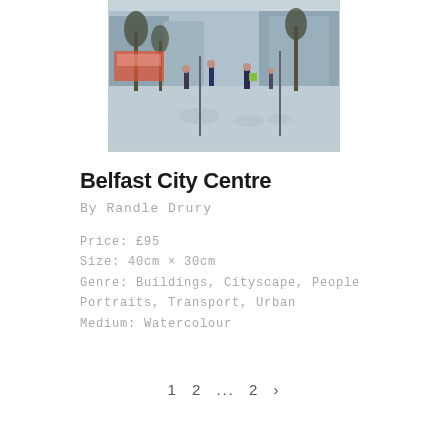[Figure (photo): Watercolour painting of Belfast City Centre street scene — pedestrians walking on a wet reflective pavement, trees, buses and buildings in background, muted blue-grey tones]
Belfast City Centre
By Randle Drury
Price: £95
Size: 40cm × 30cm
Genre: Buildings, Cityscape, People Portraits, Transport, Urban
Medium: Watercolour
1  2  ...  2  >